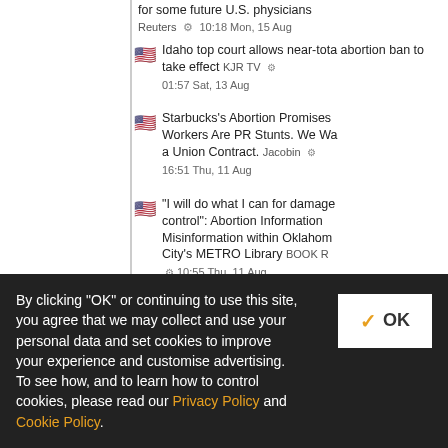for some future U.S. physicians Reuters ⚙ 10:18 Mon, 15 Aug
Idaho top court allows near-total abortion ban to take effect KJR TV ⚙ 01:57 Sat, 13 Aug
Starbucks's Abortion Promises to Workers Are PR Stunts. We Wa... a Union Contract. Jacobin ⚙ 16:51 Thu, 11 Aug
"I will do what I can for damage control": Abortion Information Misinformation within Oklahoma City's METRO Library BOOK R... ⚙ 10:55 Thu, 11 Aug
Parents demand sexually expli... books be removed from Oklaho... public school libraries The Blaze... ⚙ 03:14 Thu, 11 Aug
Oklahoma Gov. Kevin Stitt hits media for fueling 'distrust', reje...
By clicking "OK" or continuing to use this site, you agree that we may collect and use your personal data and set cookies to improve your experience and customise advertising. To see how, and to learn how to control cookies, please read our Privacy Policy and Cookie Policy.